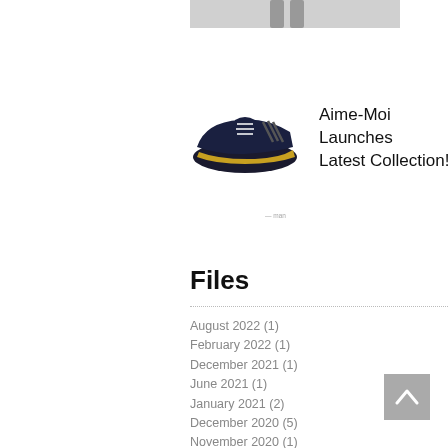[Figure (photo): Partial view of a person or clothing item cropped at top of page]
[Figure (photo): Dark navy and yellow chunky sneakers/shoes from Aime-Moi collection]
Aime-Moi Launches Latest Collection!
Files
August 2022 (1)
February 2022 (1)
December 2021 (1)
June 2021 (1)
January 2021 (2)
December 2020 (5)
November 2020 (1)
July 2020 (2)
June 2020 (6)
May 2020 (10)
April 2020 (17)
March 2020 (9)
December 2016 (4)